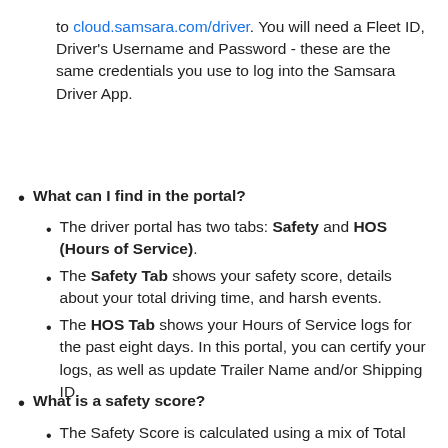to cloud.samsara.com/driver. You will need a Fleet ID, Driver's Username and Password - these are the same credentials you use to log into the Samsara Driver App.
What can I find in the portal?
The driver portal has two tabs: Safety and HOS (Hours of Service).
The Safety Tab shows your safety score, details about your total driving time, and harsh events.
The HOS Tab shows your Hours of Service logs for the past eight days. In this portal, you can certify your logs, as well as update Trailer Name and/or Shipping ID.
What is a safety score?
The Safety Score is calculated using a mix of Total...